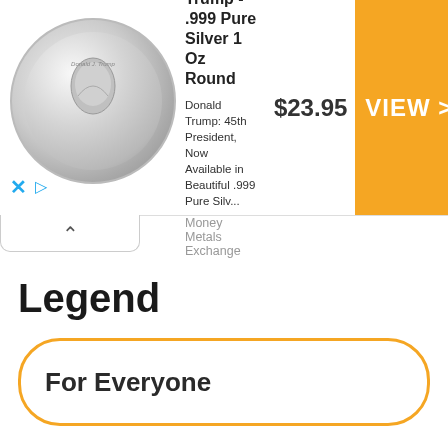[Figure (infographic): Advertisement banner for President Trump .999 Pure Silver 1 Oz Round coin showing a silver coin image on the left, product title and description in the middle, price $23.95, and orange VIEW > button on the right. Source: Money Metals Exchange. Close (x) and play icons at bottom left.]
^
Legend
For Everyone
For Registered Guests Only